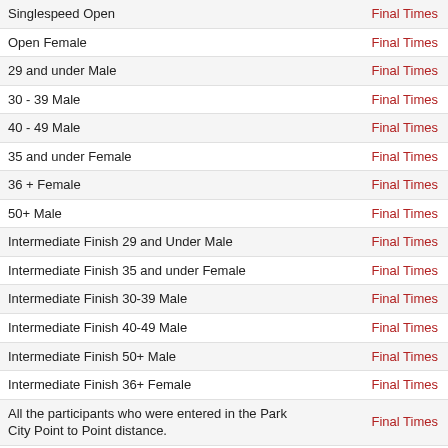| Category | Result |
| --- | --- |
| Singlespeed Open | Final Times |
| Open Female | Final Times |
| 29 and under Male | Final Times |
| 30 - 39 Male | Final Times |
| 40 - 49 Male | Final Times |
| 35 and under Female | Final Times |
| 36 + Female | Final Times |
| 50+ Male | Final Times |
| Intermediate Finish 29 and Under Male | Final Times |
| Intermediate Finish 35 and under Female | Final Times |
| Intermediate Finish 30-39 Male | Final Times |
| Intermediate Finish 40-49 Male | Final Times |
| Intermediate Finish 50+ Male | Final Times |
| Intermediate Finish 36+ Female | Final Times |
| All the participants who were entered in the Park City Point to Point distance. | Final Times |
| All male participants and/or teams who were entered in the Park City Point to Point distance. | Final Times |
| All the female participants and/or teams who were entered in the Park City Point to Point distance. | Final Times |
| All mixed teams who were entered in the Park City Point to Point distance. | Final Times |